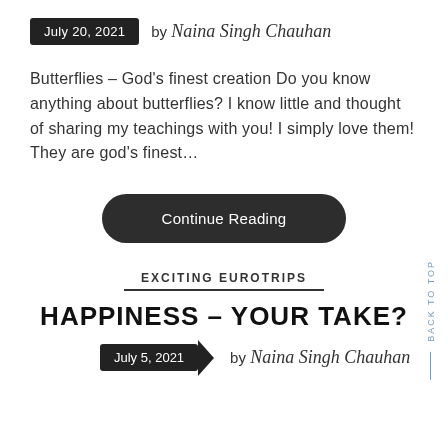July 20, 2021 by Naina Singh Chauhan
Butterflies – God's finest creation Do you know anything about butterflies? I know little and thought of sharing my teachings with you! I simply love them! They are god's finest…
Continue Reading
EXCITING EUROTRIPS
HAPPINESS – YOUR TAKE?
July 5, 2021 by Naina Singh Chauhan